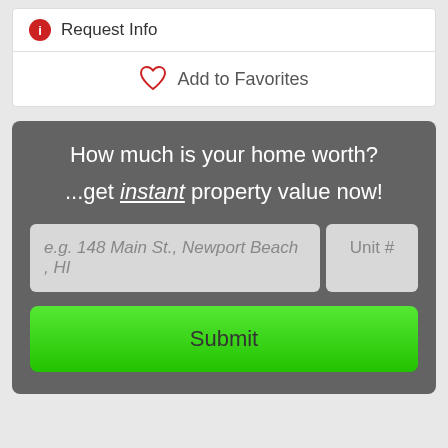Request Info
Add to Favorites
How much is your home worth?
...get instant property value now!
e.g. 148 Main St., Newport Beach , HI
Unit #
Submit